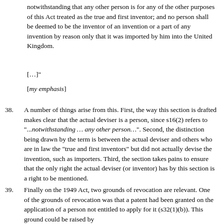notwithstanding that any other person is for any of the other purposes of this Act treated as the true and first inventor; and no person shall be deemed to be the inventor of an invention or a part of any invention by reason only that it was imported by him into the United Kingdom.
[…]"
[my emphasis]
38. A number of things arise from this. First, the way this section is drafted makes clear that the actual deviser is a person, since s16(2) refers to "...notwithstanding … any other person…". Second, the distinction being drawn by the term is between the actual deviser and others who are in law the "true and first inventors" but did not actually devise the invention, such as importers. Third, the section takes pains to ensure that the only right the actual deviser (or inventor) has by this section is a right to be mentioned.
39. Finally on the 1949 Act, two grounds of revocation are relevant. One of the grounds of revocation was that a patent had been granted on the application of a person not entitled to apply for it (s32(1)(b)). This ground could be raised by